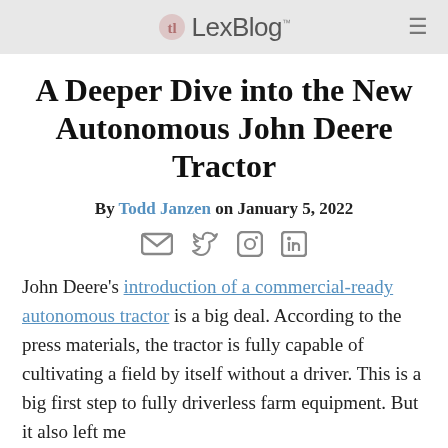LexBlog
A Deeper Dive into the New Autonomous John Deere Tractor
By Todd Janzen on January 5, 2022
[Figure (infographic): Social sharing icons: email, Twitter, Facebook, LinkedIn]
John Deere's introduction of a commercial-ready autonomous tractor is a big deal. According to the press materials, the tractor is fully capable of cultivating a field by itself without a driver. This is a big first step to fully driverless farm equipment. But it also left me